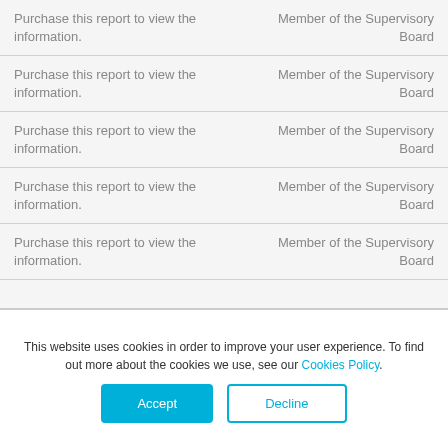| Name | Role |
| --- | --- |
| Purchase this report to view the information. | Member of the Supervisory Board |
| Purchase this report to view the information. | Member of the Supervisory Board |
| Purchase this report to view the information. | Member of the Supervisory Board |
| Purchase this report to view the information. | Member of the Supervisory Board |
| Purchase this report to view the information. | Member of the Supervisory Board |
This website uses cookies in order to improve your user experience. To find out more about the cookies we use, see our Cookies Policy.